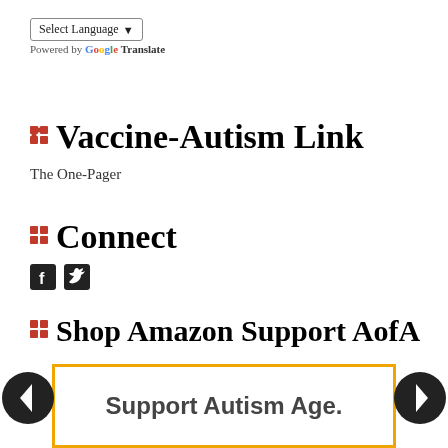[Figure (other): Select Language dropdown widget with Google Translate branding]
Vaccine-Autism Link
The One-Pager
Connect
[Figure (other): Social media icons: Facebook and Twitter]
Shop Amazon Support AofA
[Figure (other): Amazon support banner with orange border and text 'Support Autism Age.' with navigation arrows on left and right]
Support Autism Age.